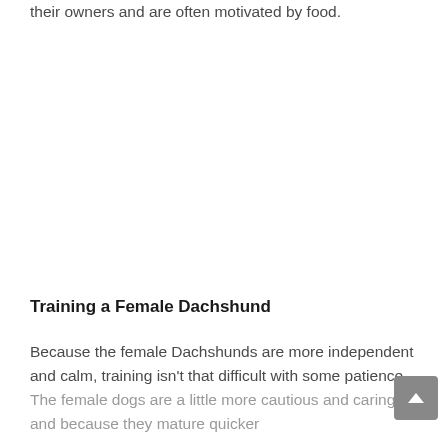their owners and are often motivated by food.
Training a Female Dachshund
Because the female Dachshunds are more independent and calm, training isn't that difficult with some patience. The female dogs are a little more cautious and caring, and because they mature quicker